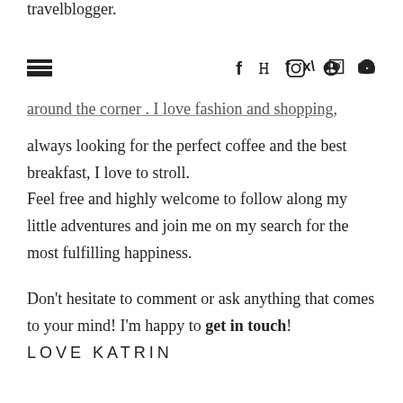travelblogger.
[Figure (other): Navigation bar with hamburger menu icon on left and social media icons (Facebook, Twitter, Instagram, Pinterest, YouTube) on right]
around the corner . I love fashion and shopping, always looking for the perfect coffee and the best breakfast, I love to stroll. Feel free and highly welcome to follow along my little adventures and join me on my search for the most fulfilling happiness.
Don't hesitate to comment or ask anything that comes to your mind! I'm happy to get in touch!
LOVE KATRIN